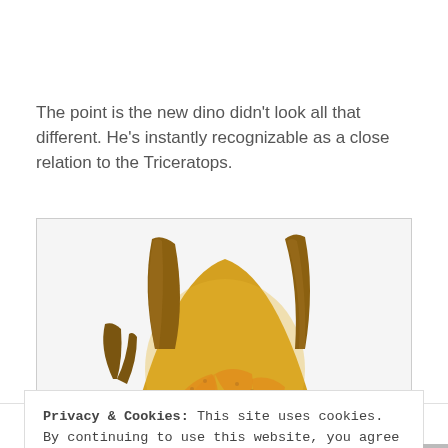The point is the new dino didn't look all that different. He's instantly recognizable as a close relation to the Triceratops.
[Figure (photo): Close-up photograph of a dinosaur (Triceratops relative) showing its textured yellow-orange frill and two prominent horns against a white background.]
Privacy & Cookies: This site uses cookies. By continuing to use this website, you agree to their use.
To find out more, including how to control cookies, see here: Cookie Policy
Close and accept
Build a writing habit.